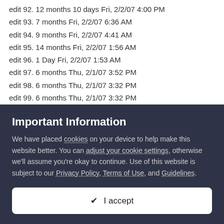edit 92. 12 months 10 days Fri, 2/2/07 4:00 PM
edit 93. 7 months Fri, 2/2/07 6:36 AM
edit 94. 9 months Fri, 2/2/07 4:41 AM
edit 95. 14 months Fri, 2/2/07 1:56 AM
edit 96. 1 Day Fri, 2/2/07 1:53 AM
edit 97. 6 months Thu, 2/1/07 3:52 PM
edit 98. 6 months Thu, 2/1/07 3:32 PM
edit 99. 6 months Thu, 2/1/07 3:32 PM
edit 100. 6 months Thu, 2/1/07 3:00 PM
edit 101. 9 months Thu, 2/1/07 10:00 AM
edit 102. 8 Months Thu, 2/1/07 9:45 AM
edit 103. 6 months Thu, 2/1/07 9:56 AM
Important Information
We have placed cookies on your device to help make this website better. You can adjust your cookie settings, otherwise we'll assume you're okay to continue. Use of this website is subject to our Privacy Policy, Terms of Use, and Guidelines.
✔ I accept